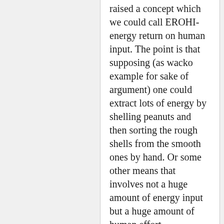raised a concept which we could call EROHI- energy return on human input. The point is that supposing (as wacko example for sake of argument) one could extract lots of energy by shelling peanuts and then sorting the rough shells from the smooth ones by hand. Or some other means that involves not a huge amount of energy input but a huge amount of human effort.
Certainly, different energy productions have widely differing EROHI. Travelling to some remote area and then carrying out extensive searching tech is a lot more human effort than just sinking a primitive